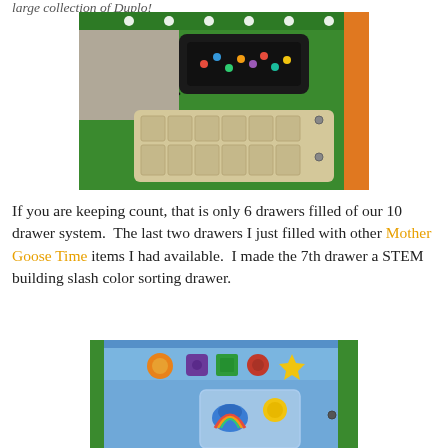large collection of Duplo!
[Figure (photo): Interior of a green storage drawer system with LED lights, a black container with colorful beads/buttons, and a beige segmented tray with multiple compartments.]
If you are keeping count, that is only 6 drawers filled of our 10 drawer system.  The last two drawers I just filled with other Mother Goose Time items I had available.  I made the 7th drawer a STEM building slash color sorting drawer.
[Figure (photo): Interior of a blue plastic drawer containing colorful shaped building pieces/toys (orange circle, purple shape, green square, red button, yellow star) and a clear bag with colorful toy figures.]